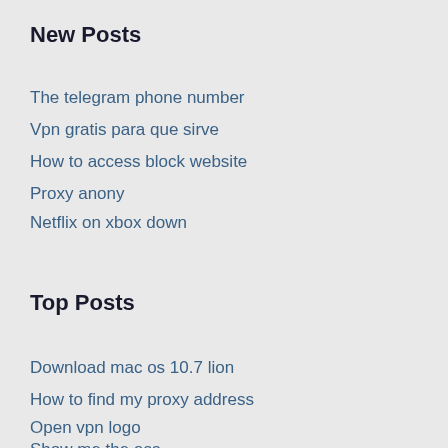New Posts
The telegram phone number
Vpn gratis para que sirve
How to access block website
Proxy anony
Netflix on xbox down
Top Posts
Download mac os 10.7 lion
How to find my proxy address
Open vpn logo
Show me the ass